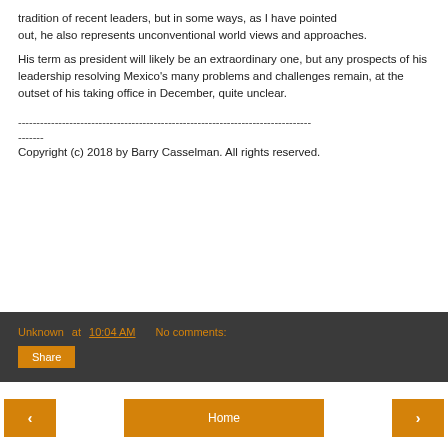tradition of recent leaders, but in some ways, as I have pointed
out, he also represents unconventional world views and approaches.
His term as president will likely be an extraordinary one, but any prospects of his leadership resolving Mexico's many problems and challenges remain, at the outset of his taking office in December, quite unclear.
--------------------------------------------------------------------------------
-------
Copyright (c) 2018 by Barry Casselman. All rights reserved.
Unknown at 10:04 AM   No comments:
Share
< | Home | >